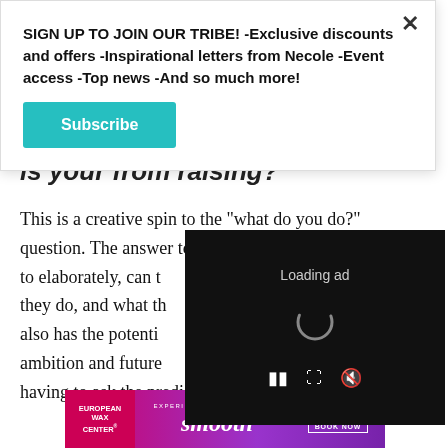SIGN UP TO JOIN OUR TRIBE! -Exclusive discounts and offers -Inspirational letters from Necole -Event access -Top news -And so much more!
Subscribe
is your from raising?
This is a creative spin to the "what do you do?" question. The answer to this question, if responded to elaborately, can t... they do, and what th... also has the potenti... ambition and future... having to ask the predictable "what's your five-year
[Figure (screenshot): Video ad overlay with 'Loading ad' text, spinner icon, and playback controls (pause, fullscreen, mute) on black background]
[Figure (screenshot): European Wax Center banner ad: 'Experience a new state of smooth. First wax free. Book now.' Purple/pink gradient background.]